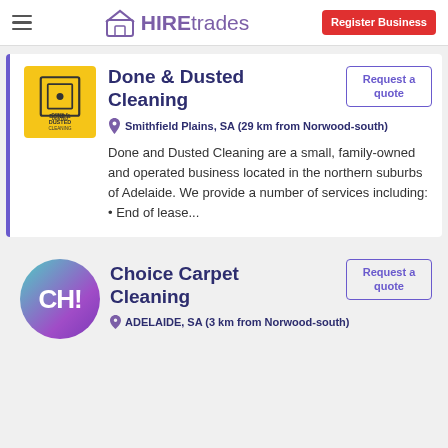HIREtrades | Register Business
Done & Dusted Cleaning
Smithfield Plains, SA (29 km from Norwood-south)
Done and Dusted Cleaning are a small, family-owned and operated business located in the northern suburbs of Adelaide. We provide a number of services including: • End of lease...
Choice Carpet Cleaning
ADELAIDE, SA (3 km from Norwood-south)